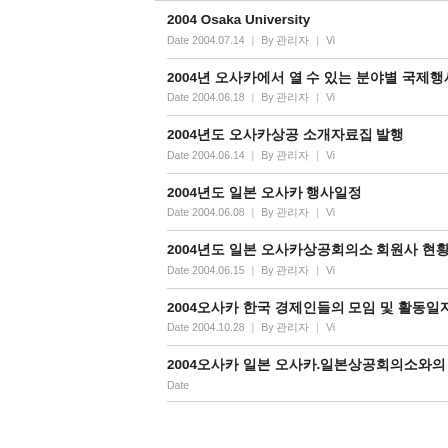2004 Osaka University
Date 2004.07.14 | By 관리자 | Vi
2004년 오사카에서 열 수 있는 분야별 국제행사
Date 2004.06.18 | By 관리자 | Vi
2004년도 오사카상공 소개자료집 발행
Date 2004.06.14 | By 관리자 | Vi
2004년도 일본 오사카 행사일정
Date 2004.06.08 | By 관리자 | Vi
2004년도 일본 오사카상공회의소 회원사 현황
Date 2004.06.15 | By 관리자 | Vi
2004오사카 한국 경제인들의 모임 및 활동일지
Date 2004.10.28 | By 관리자 | Vi
2004오사카 일본 오사카.일본상공회의소와의 교
Date